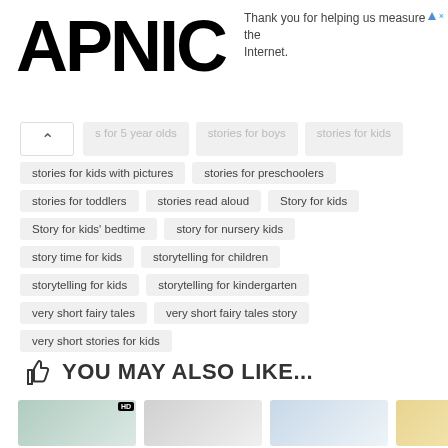APNIC
Thank you for helping us measure the Internet.
s for 5 year olds
stories for boys
stories for kids
stories for kids with pictures
stories for preschoolers
stories for toddlers
stories read aloud
Story for kids
Story for kids' bedtime
story for nursery kids
story time for kids
storytelling for children
storytelling for kids
storytelling for kindergarten
very short fairy tales
very short fairy tales story
very short stories for kids
YOU MAY ALSO LIKE...
[Figure (screenshot): Preview thumbnails of recommended content]